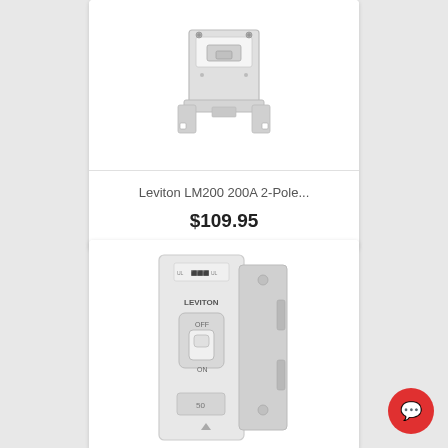[Figure (photo): Leviton LM200 200A 2-Pole load center/electrical component shown from below, white plastic housing with mounting brackets]
Leviton LM200 200A 2-Pole...
$109.95
[Figure (photo): Leviton circuit breaker, white, single pole, showing ON/OFF toggle, label with LEVITON branding, side rail clips visible]